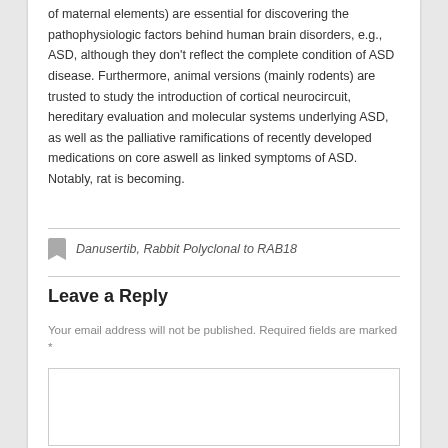of maternal elements) are essential for discovering the pathophysiologic factors behind human brain disorders, e.g., ASD, although they don't reflect the complete condition of ASD disease. Furthermore, animal versions (mainly rodents) are trusted to study the introduction of cortical neurocircuit, hereditary evaluation and molecular systems underlying ASD, as well as the palliative ramifications of recently developed medications on core aswell as linked symptoms of ASD. Notably, rat is becoming.
Danusertib, Rabbit Polyclonal to RAB18
Leave a Reply
Your email address will not be published. Required fields are marked *